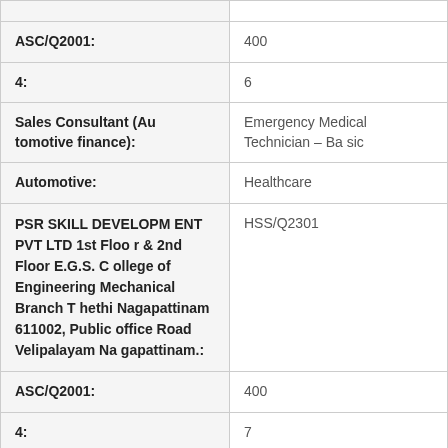| Field | Value |
| --- | --- |
| ASC/Q2001: | 400 |
| 4: | 6 |
| Sales Consultant (Automotive finance): | Emergency Medical Technician – Basic |
| Automotive: | Healthcare |
| PSR SKILL DEVELOPMENT PVT LTD 1st Floor & 2nd Floor E.G.S. College of Engineering Mechanical Branch Thethi Nagapattinam 611002, Public office Road Velipalayam Nagapattinam.: | HSS/Q2301 |
| ASC/Q2001: | 400 |
| 4: | 7 |